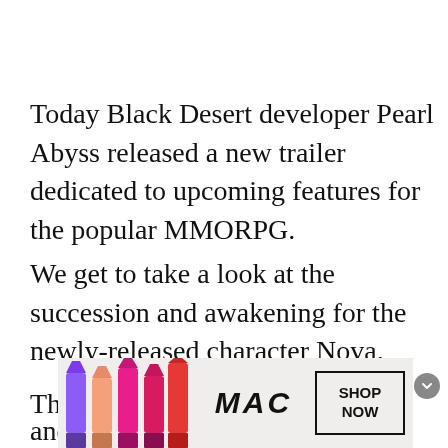Today Black Desert developer Pearl Abyss released a new trailer dedicated to upcoming features for the popular MMORPG.
We get to take a look at the succession and awakening for the newly-released character Nova.
The awakening replaces the massive shield and mace with a definitely more offensive and
[Figure (other): MAC cosmetics advertisement banner showing colorful lipsticks, MAC logo, and SHOP NOW button]